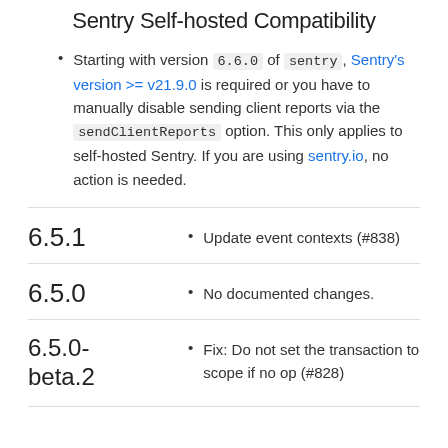Sentry Self-hosted Compatibility
Starting with version 6.6.0 of sentry, Sentry's version >= v21.9.0 is required or you have to manually disable sending client reports via the sendClientReports option. This only applies to self-hosted Sentry. If you are using sentry.io, no action is needed.
6.5.1
Update event contexts (#838)
6.5.0
No documented changes.
6.5.0-beta.2
Fix: Do not set the transaction to scope if no op (#828)